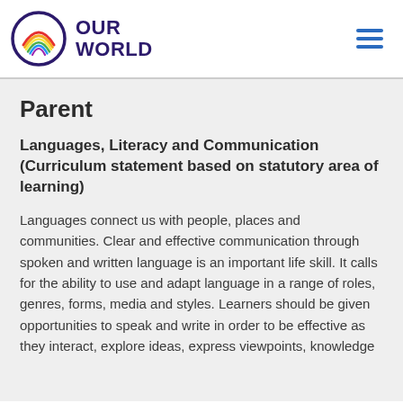OUR WORLD
Parent
Languages, Literacy and Communication (Curriculum statement based on statutory area of learning)
Languages connect us with people, places and communities. Clear and effective communication through spoken and written language is an important life skill. It calls for the ability to use and adapt language in a range of roles, genres, forms, media and styles. Learners should be given opportunities to speak and write in order to be effective as they interact, explore ideas, express viewpoints, knowledge